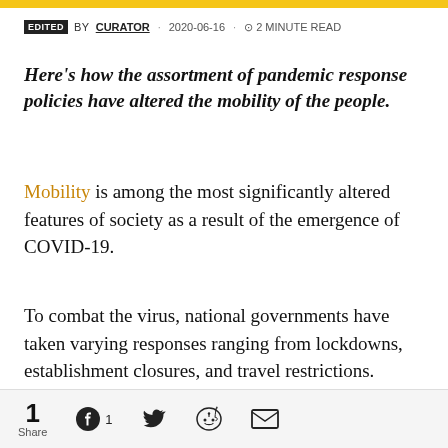EDITED BY CURATOR · 2020-06-16 · ⊙ 2 MINUTE READ
Here's how the assortment of pandemic response policies have altered the mobility of the people.
Mobility is among the most significantly altered features of society as a result of the emergence of COVID-19.
To combat the virus, national governments have taken varying responses ranging from lockdowns, establishment closures, and travel restrictions. These strategies are quickly changing to adequately respond to the developments in the
1 Share  1